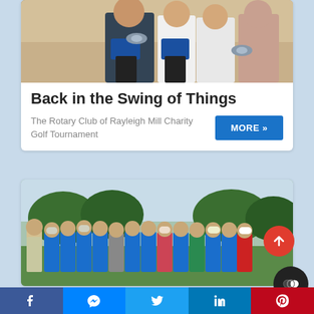[Figure (photo): Group of people holding golf trophy boxes, posed together at outdoor event]
Back in the Swing of Things
The Rotary Club of Rayleigh Mill Charity Golf Tournament
[Figure (photo): Large group of golfers in blue polo shirts standing on a golf course]
Facebook | Messenger | Twitter | LinkedIn | Pinterest